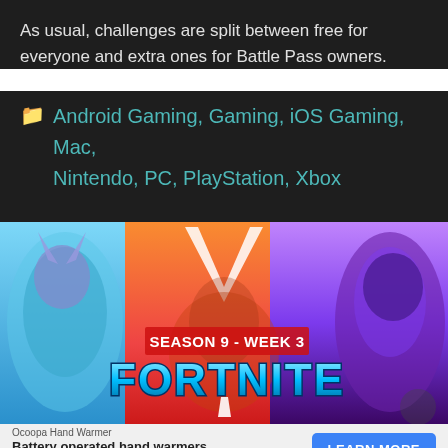As usual, challenges are split between free for everyone and extra ones for Battle Pass owners.
Android Gaming, Gaming, iOS Gaming, Mac, Nintendo, PC, PlayStation, Xbox
[Figure (photo): Fortnite Season 9 - Week 3 promotional image showing three game characters: a blue shark-like character on the left, a red/orange character in the center, and a purple armored character on the right, with the text 'SEASON 9 - WEEK 3' and 'FORTNITE' overlaid in the middle]
Ocoopa Hand Warmer - Battery operated hand warmers - LEARN MORE